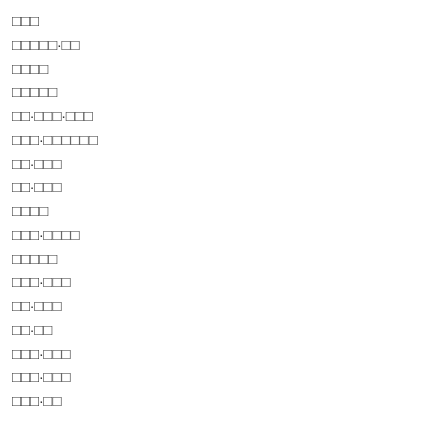□□□
□□□□□·□□
□□□□
□□□□□
□□·□□□·□□□
□□□·□□□□□□
□□·□□□
□□·□□□
□□□□
□□□·□□□□
□□□□□
□□□·□□□
□□·□□□
□□·□□
□□□·□□□
□□□·□□□
□□□·□□